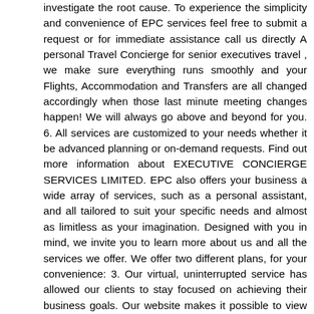investigate the root cause. To experience the simplicity and convenience of EPC services feel free to submit a request or for immediate assistance call us directly A personal Travel Concierge for senior executives travel , we make sure everything runs smoothly and your Flights, Accommodation and Transfers are all changed accordingly when those last minute meeting changes happen! We will always go above and beyond for you. 6. All services are customized to your needs whether it be advanced planning or on-demand requests. Find out more information about EXECUTIVE CONCIERGE SERVICES LIMITED. EPC also offers your business a wide array of services, such as a personal assistant, and all tailored to suit your specific needs and almost as limitless as your imagination. Designed with you in mind, we invite you to learn more about us and all the services we offer. We offer two different plans, for your convenience: 3. Our virtual, uninterrupted service has allowed our clients to stay focused on achieving their business goals. Our website makes it possible to view other available documents related to EXECUTIVE CONCIERGE SERVICES LIMITED. We will work with you to fix it and support you after. If you are celebrating a special occasion, we can arrange for